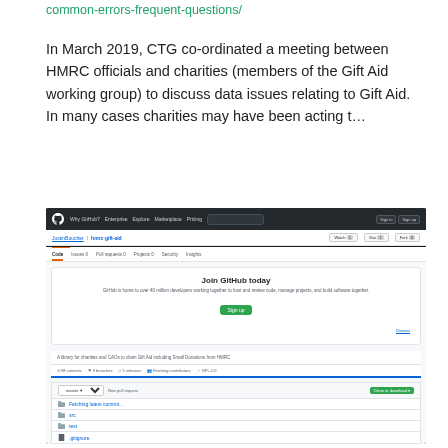common-errors-frequent-questions/
In March 2019, CTG co-ordinated a meeting between HMRC officials and charities (members of the Gift Aid working group) to discuss data issues relating to Gift Aid. In many cases charities may have been acting t…
[Figure (screenshot): Screenshot of a GitHub repository page for 'JustinBoucher/hmrc-gift-aid'. Shows GitHub's dark navigation bar at top, breadcrumb showing the repository name, tabs for Code/Issues/Pull requests/Projects/Security/Insights, a 'Join GitHub today' promotional box with sign up button, a repository description 'A library for charities and CAOs to claim Gift Aid including Small Donations from HMRC', repository stats, a file list header with branch selector and 'Clone or download' button, and file rows including .travis.yml, test, src, .gitignore, .travis.yml, and LICENCE.md.]